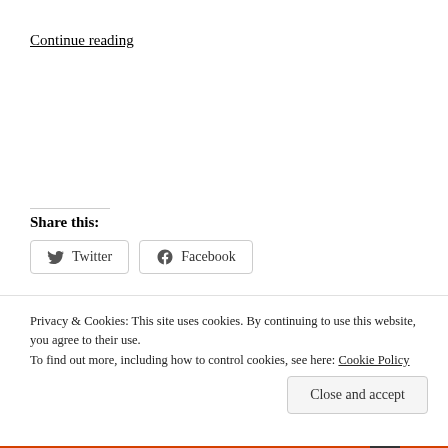Continue reading
Share this:
Twitter  Facebook
Like
Be the first to like this.
Privacy & Cookies: This site uses cookies. By continuing to use this website, you agree to their use.
To find out more, including how to control cookies, see here: Cookie Policy
Close and accept